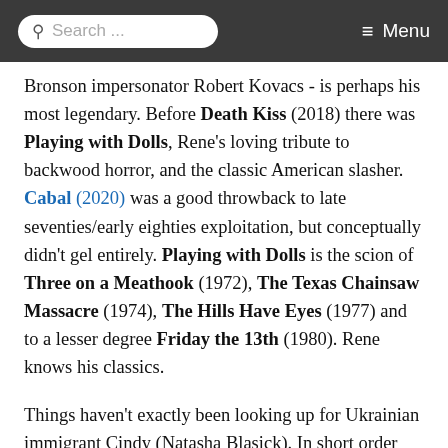Search ... Menu
Bronson impersonator Robert Kovacs - is perhaps his most legendary. Before Death Kiss (2018) there was Playing with Dolls, Rene's loving tribute to backwood horror, and the classic American slasher. Cabal (2020) was a good throwback to late seventies/early eighties exploitation, but conceptually didn't gel entirely. Playing with Dolls is the scion of Three on a Meathook (1972), The Texas Chainsaw Massacre (1974), The Hills Have Eyes (1977) and to a lesser degree Friday the 13th (1980). Rene knows his classics.
Things haven't exactly been looking up for Ukrainian immigrant Cindy (Natasha Blasick). In short order her roommate left taking with her all belongings,